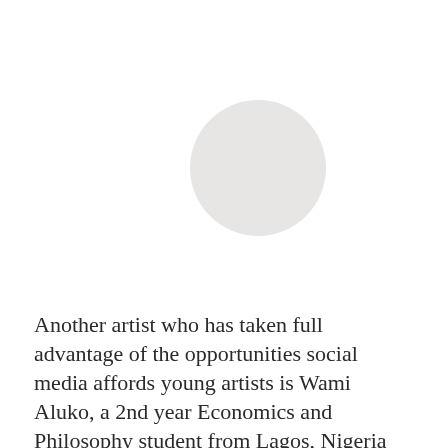[Figure (illustration): A light gray circle/avatar placeholder image centered in the upper portion of the page, representing a profile photo or portrait]
Another artist who has taken full advantage of the opportunities social media affords young artists is Wami Aluko, a 2nd year Economics and Philosophy student from Lagos, Nigeria who has built a large online following with her photography and film. When I asked her how she viewed